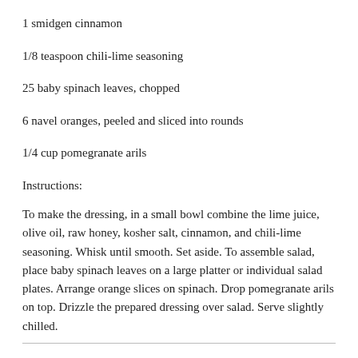1 smidgen cinnamon
1/8 teaspoon chili-lime seasoning
25 baby spinach leaves, chopped
6 navel oranges, peeled and sliced into rounds
1/4 cup pomegranate arils
Instructions:
To make the dressing, in a small bowl combine the lime juice, olive oil, raw honey, kosher salt, cinnamon, and chili-lime seasoning. Whisk until smooth. Set aside. To assemble salad, place baby spinach leaves on a large platter or individual salad plates. Arrange orange slices on spinach. Drop pomegranate arils on top. Drizzle the prepared dressing over salad. Serve slightly chilled.